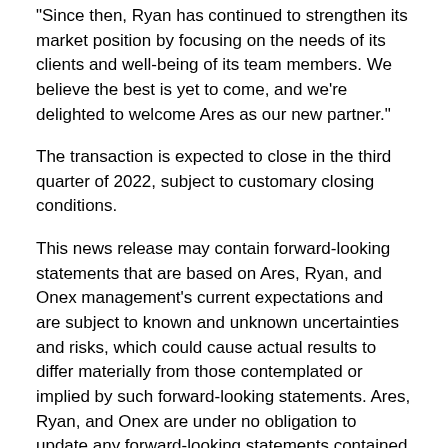"Since then, Ryan has continued to strengthen its market position by focusing on the needs of its clients and well-being of its team members. We believe the best is yet to come, and we're delighted to welcome Ares as our new partner."
The transaction is expected to close in the third quarter of 2022, subject to customary closing conditions.
This news release may contain forward-looking statements that are based on Ares, Ryan, and Onex management's current expectations and are subject to known and unknown uncertainties and risks, which could cause actual results to differ materially from those contemplated or implied by such forward-looking statements. Ares, Ryan, and Onex are under no obligation to update any forward-looking statements contained herein should material facts change due to new information, future events or otherwise.
About Ryan
Ryan, an award-winning global tax services and software provider, is the largest Firm in the world dedicated exclusively to business